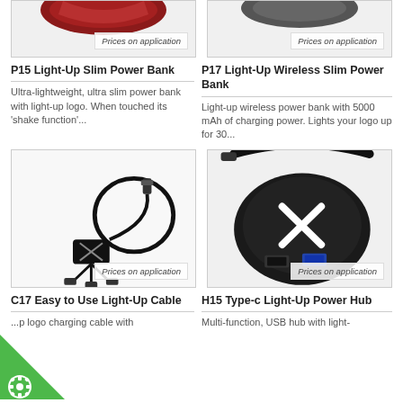[Figure (photo): Product image area (top left) showing partial view of red power bank with price tag 'Prices on application']
[Figure (photo): Product image area (top right) showing partial view of power bank with price tag 'Prices on application']
P15 Light-Up Slim Power Bank
Ultra-lightweight, ultra slim power bank with light-up logo. When touched its 'shake function'...
P17 Light-Up Wireless Slim Power Bank
Light-up wireless power bank with 5000 mAh of charging power. Lights your logo up for 30...
[Figure (photo): Black multi-connector light-up charging cable with USB connectors, looped, with price tag 'Prices on application']
[Figure (photo): Black round USB hub with X logo light-up and cable, with price tag 'Prices on application']
C17 Easy to Use Light-Up Cable
...p logo charging cable with
H15 Type-c Light-Up Power Hub
Multi-function, USB hub with light-